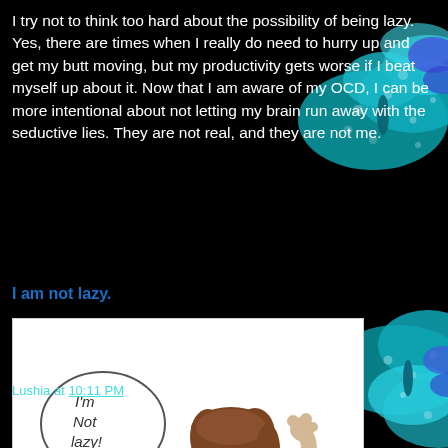I try not to think too hard about the possibility of being lazy. Yes, there are times when I really do need to hurry up and get my butt moving, but my productivity gets worse if I beat myself up about it. Now that I am aware of my OCD, I can be more intentional about not letting my brain run away with the seductive lies. They are not real, and they are not me.
I am not lazy.
[Figure (illustration): Hand-drawn illustration of a person with brown hair raising their arm, with a speech bubble saying 'I'm Not lazy!']
Lushia at 10:11 PM
Share